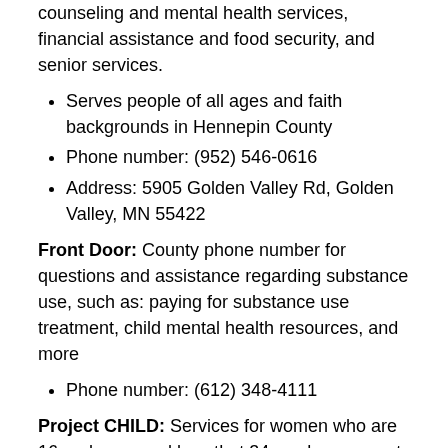counseling and mental health services, financial assistance and food security, and senior services.
Serves people of all ages and faith backgrounds in Hennepin County
Phone number: (952) 546-0616
Address: 5905 Golden Valley Rd, Golden Valley, MN 55422
Front Door: County phone number for questions and assistance regarding substance use, such as: paying for substance use treatment, child mental health resources, and more
Phone number: (612) 348-4111
Project CHILD: Services for women who are 16 and over, and less that 34 weeks pregnant and using substances.